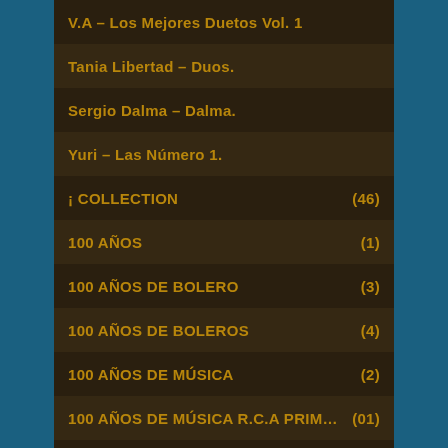V.A – Los Mejores Duetos Vol. 1
Tania Libertad – Duos.
Sergio Dalma – Dalma.
Yuri – Las Número 1.
¡ COLLECTION (46)
100 AÑOS (1)
100 AÑOS DE BOLERO (3)
100 AÑOS DE BOLEROS (4)
100 AÑOS DE MÚSICA (2)
100 AÑOS DE MÚSICA R.C.A PRIMERA PARTE (01)